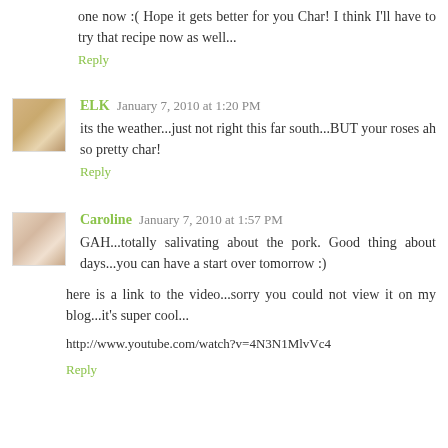one now :( Hope it gets better for you Char! I think I'll have to try that recipe now as well...
Reply
ELK  January 7, 2010 at 1:20 PM
its the weather...just not right this far south...BUT your roses ah so pretty char!
Reply
Caroline  January 7, 2010 at 1:57 PM
GAH...totally salivating about the pork. Good thing about days...you can have a start over tomorrow :)
here is a link to the video...sorry you could not view it on my blog...it's super cool...
http://www.youtube.com/watch?v=4N3N1MlvVc4
Reply